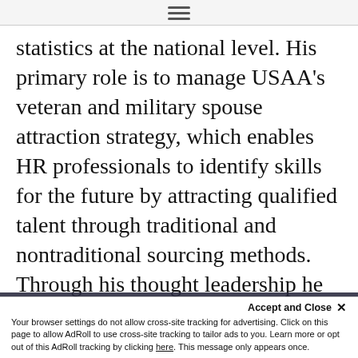[hamburger menu icon]
statistics at the national level. His primary role is to manage USAA's veteran and military spouse attraction strategy, which enables HR professionals to identify skills for the future by attracting qualified talent through traditional and nontraditional sourcing methods. Through his thought leadership he has implemented processes to optimize programmatic efforts, assess military workforce demographics, analyze emerging trends, and recommend opportunities to develop or expand military
By using this site you agree to our terms of use and privacy policy
Accept and Close ✕
Your browser settings do not allow cross-site tracking for advertising. Click on this page to allow AdRoll to use cross-site tracking to tailor ads to you. Learn more or opt out of this AdRoll tracking by clicking here. This message only appears once.